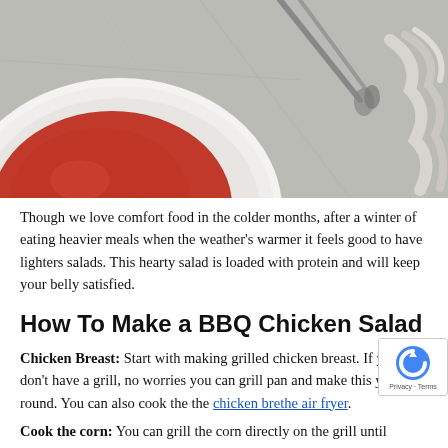[Figure (photo): Food photo showing a white bowl with red BBQ sauce and metal tongs/whisk on a grey concrete surface]
Though we love comfort food in the colder months, after a winter of eating heavier meals when the weather's warmer it feels good to have lighters salads. This hearty salad is loaded with protein and will keep your belly satisfied.
How To Make a BBQ Chicken Salad
Chicken Breast: Start with making grilled chicken breast. If you don't have a grill, no worries you can grill pan and make this year round. You can also cook the the chicken bre... the air fryer.
Cook the corn: You can grill the corn directly on the grill until